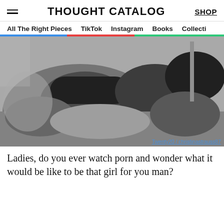THOUGHT CATALOG | SHOP
All The Right Pieces  TikTok  Instagram  Books  Collecti
[Figure (photo): Black and white photograph of a woman lying down wearing black lingerie, viewed from behind/side angle.]
Twenty20 / christinastrauss87
Ladies, do you ever watch porn and wonder what it would be like to be that girl for you man?